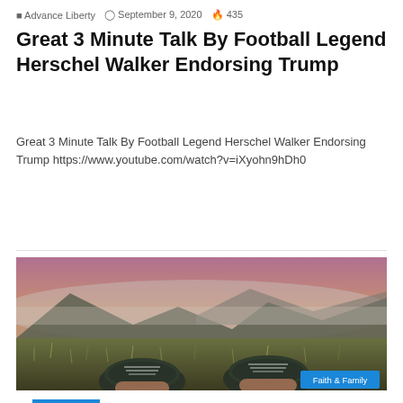Advance Liberty  September 9, 2020  435
Great 3 Minute Talk By Football Legend Herschel Walker Endorsing Trump
Great 3 Minute Talk By Football Legend Herschel Walker Endorsing Trump https://www.youtube.com/watch?v=iXyohn9hDh0
Read More »
[Figure (photo): Person lying in tall grass on a hillside with green sneakers visible in the foreground, misty mountains in the background at dusk. 'Faith & Family' badge in bottom right corner.]